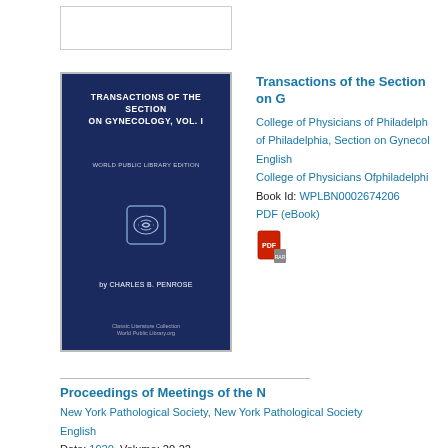[Figure (illustration): Book cover thumbnail placeholder at top of page]
[Figure (photo): Book cover: Transactions of the Section on Gynecology, Vol. I, World Public Library Edition, by Charles B. Penrose, Classic Literature Collection, World Public Library.org]
Transactions of the Section on G
College of Physicians of Philadelphia of Philadelphia, Section on Gynecology English
College of Physicians Ofphiladelphi
Book Id: WPLBN0002674206
PDF (eBook)
[Figure (other): PDF icon (red book with PDF label)]
Proceedings of Meetings of the N
New York Pathological Society, New York Pathological Society English
Date: 1920, Volume: 20-22
Book Id: WPLBN0002395568
PDF (eBook)